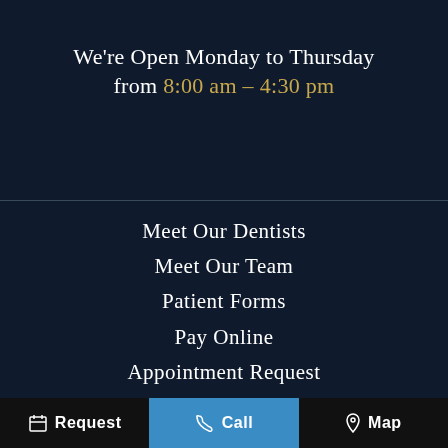We're Open Monday to Thursday from 8:00 am – 4:30 pm
Meet Our Dentists
Meet Our Team
Patient Forms
Pay Online
Appointment Request
Request  Call  Map